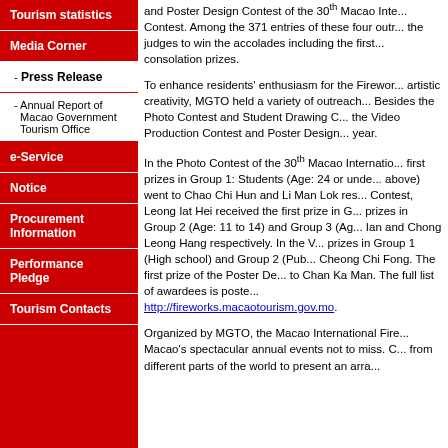Tourism statistics
Media Corner
- Press Release
- Annual Report of Macao Government Tourism Office
e-Service
Notice
Procurement Information
Performance Pledge
Tourism Contacts
and Poster Design Contest of the 30th Macao Inte... Contest. Among the 371 entries of these four outr... the judges to win the accolades including the first... consolation prizes.
To enhance residents' enthusiasm for the Firewor... artistic creativity, MGTO held a variety of outreach... Besides the Photo Contest and Student Drawing C... the Video Production Contest and Poster Design... year.
In the Photo Contest of the 30th Macao Internatio... first prizes in Group 1: Students (Age: 24 or unde... above) went to Chao Chi Hun and Li Man Lok res... Contest, Leong Iat Hei received the first prize in G... prizes in Group 2 (Age: 11 to 14) and Group 3 (Ag... Ian and Chong Leong Hang respectively. In the V... prizes in Group 1 (High school) and Group 2 (Pub... Cheong Chi Fong. The first prize of the Poster De... to Chan Ka Man. The full list of awardees is poste... http://fireworks.macaotourism.gov.mo.
Organized by MGTO, the Macao International Fire... Macao's spectacular annual events not to miss. C... from different parts of the world to present an arra...